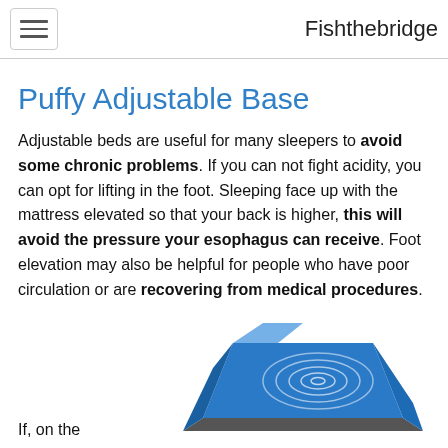Fishthebridge
Puffy Adjustable Base
Adjustable beds are useful for many sleepers to avoid some chronic problems. If you can not fight acidity, you can opt for lifting in the foot. Sleeping face up with the mattress elevated so that your back is higher, this will avoid the pressure your esophagus can receive. Foot elevation may also be helpful for people who have poor circulation or are recovering from medical procedures.
If, on the
[Figure (photo): Blue adjustable bed/mattress base shown at an angle, elevated at the head, with circular concentric design on the surface]